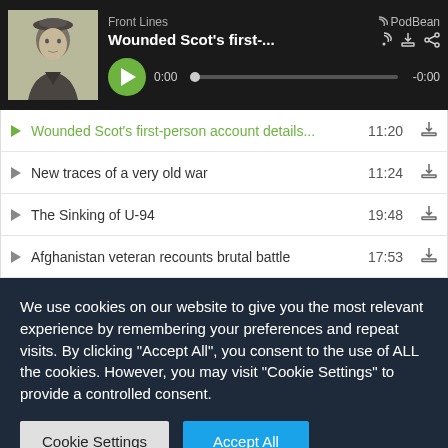[Figure (screenshot): Podcast player widget for 'Front Lines' on PodBean showing episode 'Wounded Scot's first-...' with thumbnail of a young man in military cap, play button, progress bar showing 0:00 / -0:00]
Wounded Scot's first-person account details... 11:20
New traces of a very old war 11:24
The Sinking of U-94 19:48
Afghanistan veteran recounts brutal battle 17:53
We use cookies on our website to give you the most relevant experience by remembering your preferences and repeat visits. By clicking "Accept All", you consent to the use of ALL the cookies. However, you may visit "Cookie Settings" to provide a controlled consent.
Cookie Settings    Accept All